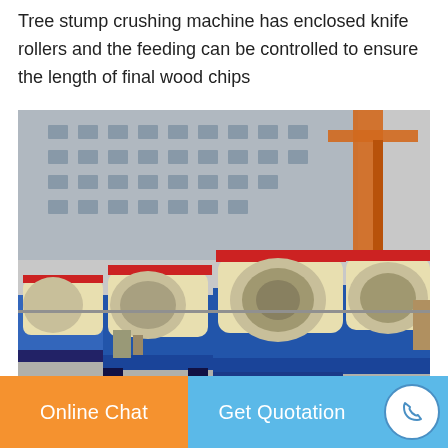Tree stump crushing machine has enclosed knife rollers and the feeding can be controlled to ensure the length of final wood chips
[Figure (photo): Multiple tree stump crushing machines with cream/beige colored enclosed knife roller housings mounted on blue steel bases, parked in a factory yard with a building and orange crane in the background.]
Online Chat
Get Quotation